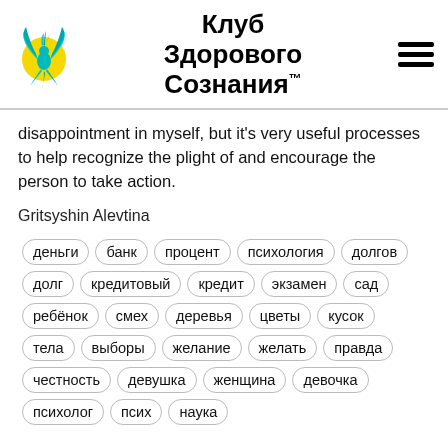Клуб Здорового Сознания™
disappointment in myself, but it's very useful processes to help recognize the plight of and encourage the person to take action.
Gritsyshin Alevtina
деньги банк процент психология долгов долг кредитовый кредит экзамен сад ребёнок смех деревья цветы кусок тела выборы желание желать правда честность девушка женщина девочка психолог псих наука